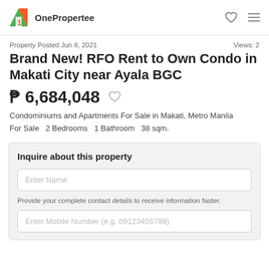OnePropertee
Property Posted Jun 8, 2021   Views: 2
Brand New! RFO Rent to Own Condo in Makati City near Ayala BGC
₱ 6,684,048
Condominiums and Apartments For Sale in Makati, Metro Manila
For Sale  2 Bedrooms  1 Bathroom  38 sqm.
Inquire about this property
Enter Name
Provide your complete contact details to receive information faster.
Enter Mobile Number (e.g. 09123456789)